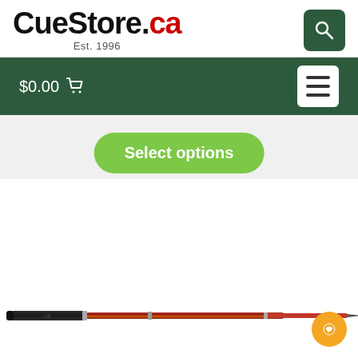[Figure (logo): CueStore.ca logo with Est. 1996 tagline and search button]
[Figure (screenshot): Navigation bar with $0.00 cart and hamburger menu button on dark green background]
[Figure (screenshot): Select options green button on light gray background]
[Figure (photo): A billiard/pool cue stick photographed horizontally, dark reddish-brown wood grain with black wrap grip and silver rings, on white background]